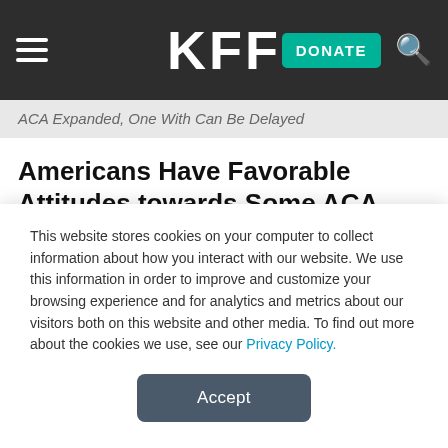KFF | DONATE
ACA Expanded, One With Can Be Delayed
Americans Have Favorable Attitudes towards Some ACA Provisions
While President-elect Trump and Republican members of Congress make efforts to repeal the ACA, many of the law's major provisions continue to be quite popular, even across party
This website stores cookies on your computer to collect information about how you interact with our website. We use this information in order to improve and customize your browsing experience and for analytics and metrics about our visitors both on this website and other media. To find out more about the cookies we use, see our Privacy Policy.
Accept